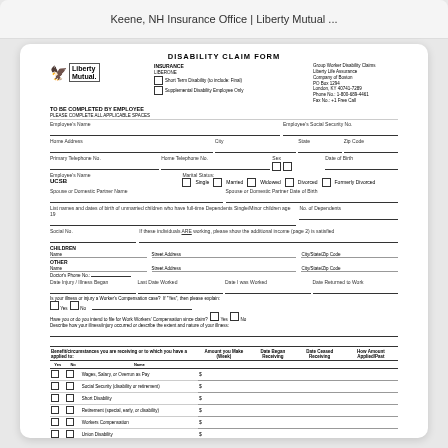Keene, NH Insurance Office | Liberty Mutual ...
DISABILITY CLAIM FORM
[Figure (logo): Liberty Mutual logo with eagle icon]
INSURANCE
LIBERONE
Group Worker Disability Claims
Liberty Life Assurance
Company of Boston
PO Box 1294
London, KY 40741-7289
Phone No.: 1-800-689-4461
Fax No.: +1 Free Call
TO BE COMPLETED BY EMPLOYEE
PLEASE COMPLETE ALL APPLICABLE SPACES
| Employee's Name | Employee's Social Security No. |
| --- | --- |
| Home Address | City | State | Zip Code |
| --- | --- | --- | --- |
| Primary Telephone No. | Home Telephone No. | Sex | Date of Birth |
| --- | --- | --- | --- |
| Employee's Name | Marital Status | Single | Married | Widowed | Divorced | Formerly Divorced |
| --- | --- | --- | --- | --- | --- | --- |
| Spouse or Domestic Partner Name | Spouse or Domestic Partner Date of Birth |
| --- | --- |
| Last known and duties of job or occupation | Any full-time Dependents Single/Minor children age 19 | No. of Dependents |
| --- | --- | --- |
| Social No. | If these individual ARE working, please show the additional income |  |
| --- | --- | --- |
CHILDREN
Name	Street Address	City/State/Zip Code
OTHER
Name	Street Address	City/State/Zip Code
Doctor's Phone No.
| Date Injury / Illness Began | Last Date Worked | Date I was Worked | Date Returned to Work |
| --- | --- | --- | --- |
Is your Illness or Injury a Worker's Compensation case?	If 'Yes', then please explain:
[ ] Yes  [ ] No
Have you or do you intend to file for Work Workers' Compensation since claim? [ ] Yes  [ ] No
Describe how your illness/injury occurred or describe the extent and nature of your illness:
| Benefit | Yes | No | Name | Amount you Make (Week) | Date Began Receiving | Date Ceased Receiving | How Amount Applied/Past |
| --- | --- | --- | --- | --- | --- | --- | --- |
| Wages, Salary, or Overrun |  |  |  | $ |  |  |  |
| Social Security (disability or retirement) |  |  |  | $ |  |  |  |
| Short Disability |  |  |  | $ |  |  |  |
| Retirement (special, early, or disability) |  |  |  | $ |  |  |  |
| Workers Compensation |  |  |  | $ |  |  |  |
| Union Disability |  |  |  | $ |  |  |  |
| Other (please describe) ____ |  |  |  | $ |  |  |  |
If your request for disability benefits applies and, the MUSIC is completed provide, as any Federal to Income Tax on more than $900.00 are not or induced. Benefit income to the termination is a result of employer contributions to the Supplemental Building Plan.
Apply to voluntary federal income tax withholding toward benefit payments: [ ] Yes  [ ] No
[ ] Withhold a specific whole dollar amount based upon the disability payments made for weekly or $_______ bi-weekly ($900 max.)
Apply to voluntary state income tax withholding toward benefit payment: [ ] Yes  [ ] No
[ ] Withhold $_______ (1040 minimum)    in the form of _________
Signature: _________________________    Date: _______________________
UNIVERSITY CALIFORNIA FROM PERSON YOUR YOUR POLICY OFFICER
PLEASE RETURN REVERSE SIDE AND PHYSICIAN PLEASE INDICATE
LF Form No. 7478 University of California - Santa Barbara